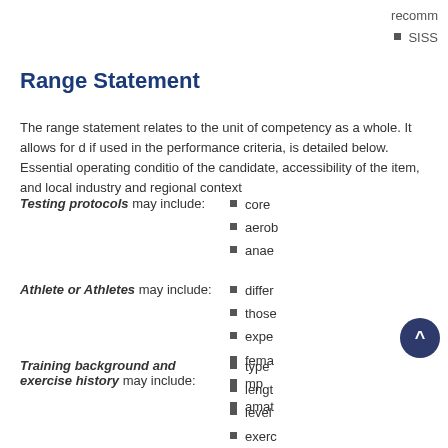recomm
SISS
Range Statement
The range statement relates to the unit of competency as a whole. It allows for d if used in the performance criteria, is detailed below. Essential operating conditio of the candidate, accessibility of the item, and local industry and regional context
Testing protocols  may include: core aerob anae
Athlete or Athletes  may include: differ those expe fema mp amat
Training background and exercise history  may include: type lengt level exerc